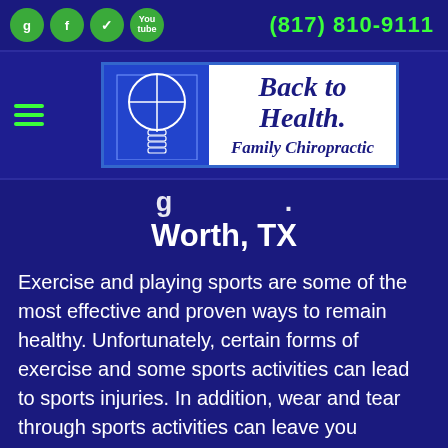(817) 810-9111
[Figure (logo): Back to Health Family Chiropractic logo with spine/head illustration on blue background]
Worth, TX
Exercise and playing sports are some of the most effective and proven ways to remain healthy. Unfortunately, certain forms of exercise and some sports activities can lead to sports injuries. In addition, wear and tear through sports activities can leave you suffering from chronic and acute pain.